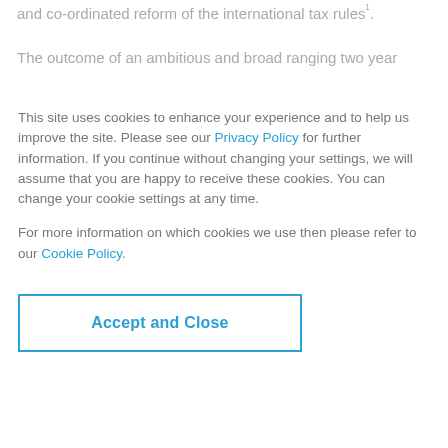and co-ordinated reform of the international tax rules¹.
The outcome of an ambitious and broad ranging two year
This site uses cookies to enhance your experience and to help us improve the site. Please see our Privacy Policy for further information. If you continue without changing your settings, we will assume that you are happy to receive these cookies. You can change your cookie settings at any time.
For more information on which cookies we use then please refer to our Cookie Policy.
Accept and Close